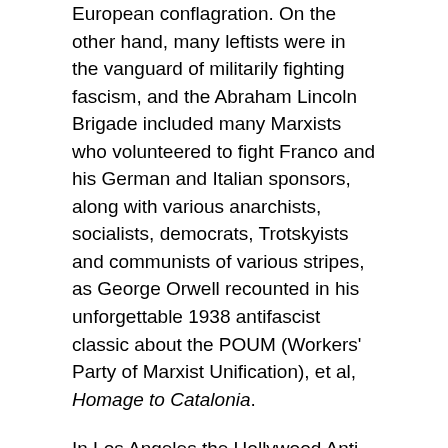European conflagration. On the other hand, many leftists were in the vanguard of militarily fighting fascism, and the Abraham Lincoln Brigade included many Marxists who volunteered to fight Franco and his German and Italian sponsors, along with various anarchists, socialists, democrats, Trotskyists and communists of various stripes, as George Orwell recounted in his unforgettable 1938 antifascist classic about the POUM (Workers' Party of Marxist Unification), et al, Homage to Catalonia.
In Los Angeles the Hollywood Anti-Nazi League, which raised money for ambulances for the Spanish Republic, etc., and other popular front organizations spearheaded the era's resistance to fascism. But in Blueprint the Left is only derogatorily mentioned in passing by the pro-Hitler characters. The FBI was not the hero of America's anti-Nazi movement, just like J. Edgar and his boys weren't the good guys in the Civil Rights movement, contrary to the 1988 movie Mississippi Burning (which presumably had M...